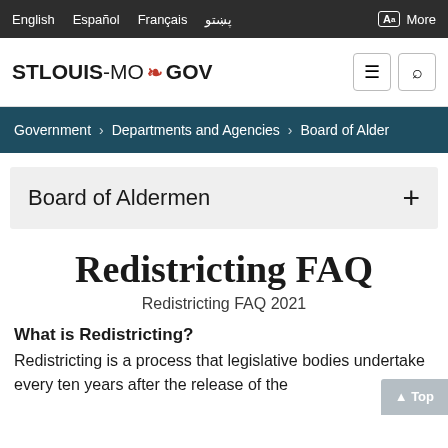English  Español  Français  پښتو  More
STLOUIS-MO GOV
Government > Departments and Agencies > Board of Alder
Board of Aldermen
Redistricting FAQ
Redistricting FAQ 2021
What is Redistricting?
Redistricting is a process that legislative bodies undertake every ten years after the release of the